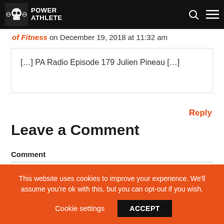Power Athlete (logo navigation bar)
of Fitness on December 19, 2018 at 11:32 am
[…] PA Radio Episode 179 Julien Pineau […]
Reply
Leave a Comment
Comment
This website uses cookies to improve your experience. We'll assume you're ok with this, but you can opt-out if you wish.
Cookie settings
ACCEPT